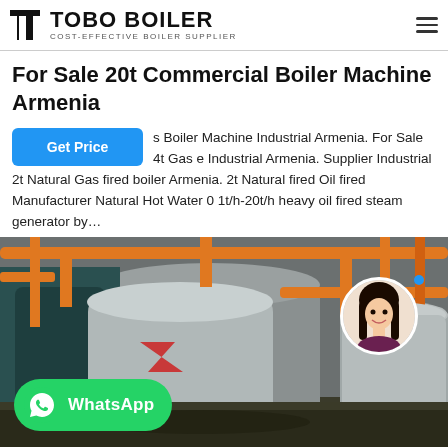[Figure (logo): TOBO BOILER logo with black geometric icon and text 'TOBO BOILER - COST-EFFECTIVE BOILER SUPPLIER']
For Sale 20t Commercial Boiler Machine Armenia
s Boiler Machine Industrial Armenia. For Sale 4t Gas e Industrial Armenia. Supplier Industrial 2t Natural Gas fired boiler Armenia. 2t Natural fired Oil fired Manufacturer Natural Hot Water 0 1t/h-20t/h heavy oil fired steam generator by...
[Figure (photo): Industrial boiler room with large cylindrical boilers, orange pipes, and equipment in a factory setting. WhatsApp button overlay at bottom left. Female customer service avatar at right with blue dot.]